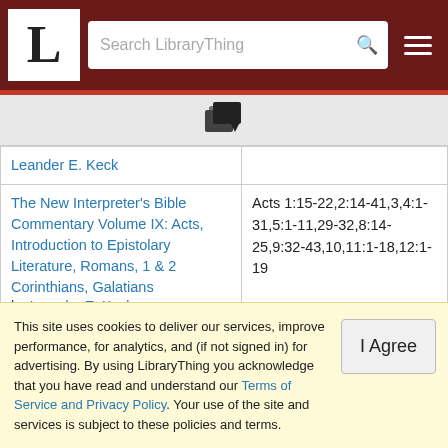LibraryThing — Search LibraryThing
[Figure (other): Book/document icon with arrow]
| Book | References |
| --- | --- |
| Leander E. Keck |  |
| The New Interpreter's Bible Commentary Volume IX: Acts, Introduction to Epistolary Literature, Romans, 1 & 2 Corinthians, Galatians by Leander E. Keck | Acts 1:15-22,2:14-41,3,4:1-31,5:1-11,29-32,8:14-25,9:32-43,10,11:1-18,12:1-19 |
| The New Interpreter's |  |
This site uses cookies to deliver our services, improve performance, for analytics, and (if not signed in) for advertising. By using LibraryThing you acknowledge that you have read and understand our Terms of Service and Privacy Policy. Your use of the site and services is subject to these policies and terms.